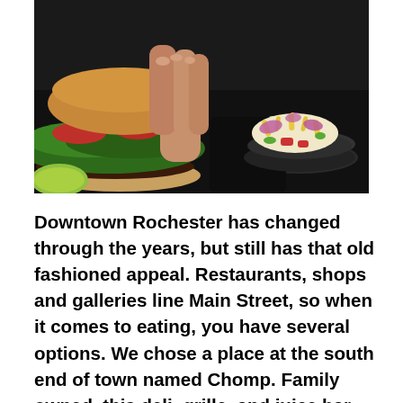[Figure (photo): A close-up food photo showing a hand holding a burger with lettuce, tomato, and toppings on the left, and a bowl of salad with shredded cheese and red onion on the right, on a dark background.]
Downtown Rochester has changed through the years, but still has that old fashioned appeal. Restaurants, shops and galleries line Main Street, so when it comes to eating, you have several options. We chose a place at the south end of town named Chomp. Family owned, this deli, grille, and juice bar has been opened for about a year now. Classified as “healthy” fast food, the menu has tons of choices from soup and salads to sandwiches and burgers, with plenty of vegetarian choices in the mix. Ok, the Avocado Burger sound too